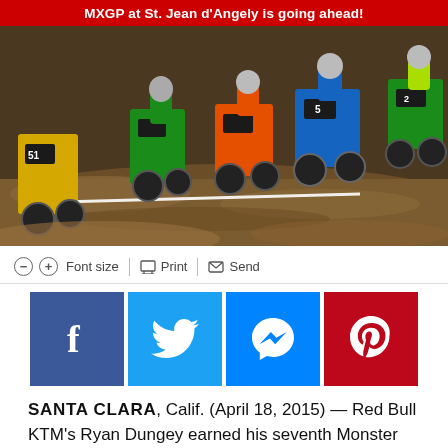MXGP at St. Jean d'Angely is going ahead!
[Figure (photo): Motocross riders racing on a dirt track, multiple riders visible with various colored bikes and gear, including blue, green, orange and yellow.]
— Font size | Print | Send
[Figure (infographic): Social media share buttons: Facebook, Twitter, Messenger, Pinterest]
SANTA CLARA, Calif. (April 18, 2015) — Red Bull KTM's Ryan Dungey earned his seventh Monster Energy AMA